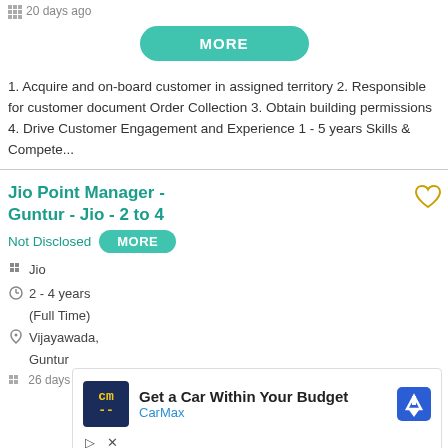20 days ago
MORE
1. Acquire and on-board customer in assigned territory 2. Responsible for customer document Order Collection 3. Obtain building permissions 4. Drive Customer Engagement and Experience 1 - 5 years Skills & Compete...
Jio Point Manager - Guntur - Jio - 2 to 4
Not Disclosed MORE
Jio
2 - 4 years
(Full Time)
Vijayawada, Guntur
26 days ago
[Figure (infographic): CarMax advertisement: logo with 'cm' text, headline 'Get a Car Within Your Budget', brand name 'CarMax', and a blue navigation/direction arrow icon]